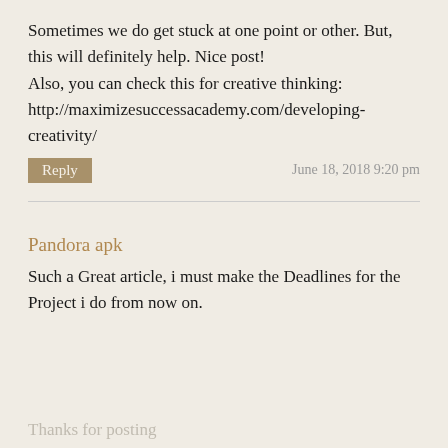Sometimes we do get stuck at one point or other. But, this will definitely help. Nice post!
Also, you can check this for creative thinking:
http://maximizesuccessacademy.com/developing-creativity/
Reply
June 18, 2018 9:20 pm
Pandora apk
Such a Great article, i must make the Deadlines for the Project i do from now on.
Thanks for posting